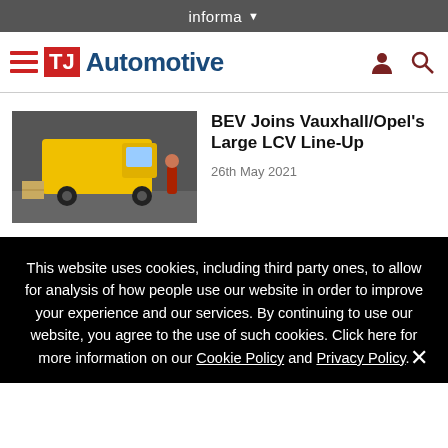informa ▼
[Figure (logo): TJ Automotive logo with hamburger menu, person icon, and search icon]
[Figure (photo): Yellow delivery van being loaded in a warehouse by a worker in red]
BEV Joins Vauxhall/Opel's Large LCV Line-Up
26th May 2021
This website uses cookies, including third party ones, to allow for analysis of how people use our website in order to improve your experience and our services. By continuing to use our website, you agree to the use of such cookies. Click here for more information on our Cookie Policy and Privacy Policy.